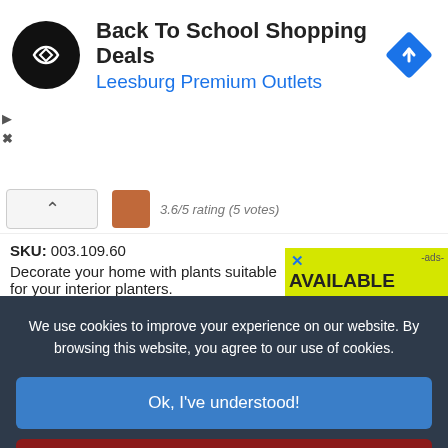[Figure (screenshot): Ad banner: circular black logo with arrow icon, 'Back To School Shopping Deals' title, 'Leesburg Premium Outlets' subtitle in blue, blue diamond navigation icon top right, small play and close icons on left side.]
SKU: 003.109.60
Decorate your home with plants suitable for your interior planters.
Check rates | Details | Feedbac
[Figure (screenshot): Yellow advertisement partial: X close button, '-ads-' label, 'AVAILABLE REBATES IN YOUR STATE' text in bold black and blue on yellow-green background.]
We use cookies to improve your experience on our website. By browsing this website, you agree to our use of cookies.
Ok, I've understood!
Decline
More Info